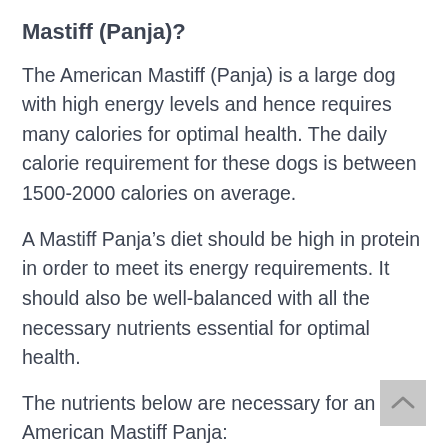Mastiff (Panja)?
The American Mastiff (Panja) is a large dog with high energy levels and hence requires many calories for optimal health. The daily calorie requirement for these dogs is between 1500-2000 calories on average.
A Mastiff Panja’s diet should be high in protein in order to meet its energy requirements. It should also be well-balanced with all the necessary nutrients essential for optimal health.
The nutrients below are necessary for an American Mastiff Panja: